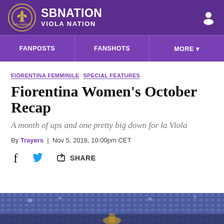SB NATION | VIOLA NATION
FANPOSTS | FANSHOTS | MORE
FIORENTINA FEMMINILE  SPECIAL FEATURES
Fiorentina Women's October Recap
A month of ups and one pretty big down for la Viola
By Trayers | Nov 5, 2018, 10:00pm CET
[Figure (other): Social share bar with Facebook, Twitter, and Share icons]
[Figure (photo): Stadium crowd background photo, partially visible at bottom of page]